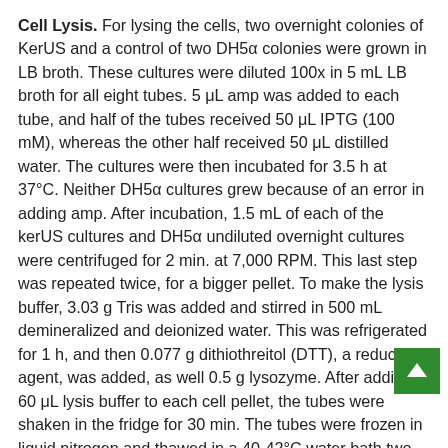Cell Lysis. For lysing the cells, two overnight colonies of KerUS and a control of two DH5α colonies were grown in LB broth. These cultures were diluted 100x in 5 mL LB broth for all eight tubes. 5 μL amp was added to each tube, and half of the tubes received 50 μL IPTG (100 mM), whereas the other half received 50 μL distilled water. The cultures were then incubated for 3.5 h at 37°C. Neither DH5α cultures grew because of an error in adding amp. After incubation, 1.5 mL of each of the kerUS cultures and DH5α undiluted overnight cultures were centrifuged for 2 min. at 7,000 RPM. This last step was repeated twice, for a bigger pellet. To make the lysis buffer, 3.03 g Tris was added and stirred in 500 mL demineralized and deionized water. This was refrigerated for 1 h, and then 0.077 g dithiothreitol (DTT), a reducing agent, was added, as well 0.5 g lysozyme. After adding 60 μL lysis buffer to each cell pellet, the tubes were shaken in the fridge for 30 min. The tubes were frozen in liquid nitrogen and thawed in a 40-42°C water bath two times. They were then centrifuged at 7,000 RPM for 2 min. twice. The pellet had not formed correctly, so 60 μL lysis buffer was added and they were spun